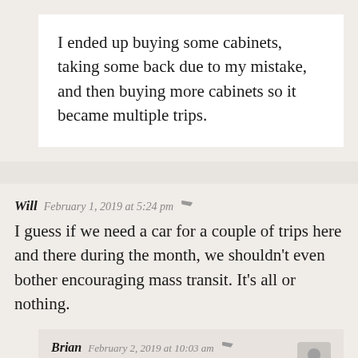I ended up buying some cabinets, taking some back due to my mistake, and then buying more cabinets so it became multiple trips.
Will  February 1, 2019 at 5:24 pm
I guess if we need a car for a couple of trips here and there during the month, we shouldn't even bother encouraging mass transit. It's all or nothing.
Brian  February 2, 2019 at 10:03 am
Going car light doesn't really save me